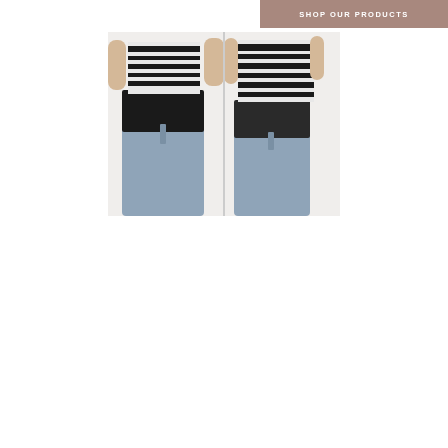SHOP OUR PRODUCTS
[Figure (photo): Two side-by-side photos of a person wearing a black waist band/belly band with jeans and a striped black and white shirt]
MORE ABOUT OUR BRAND
Footer bar with phone, email, and Facebook icons